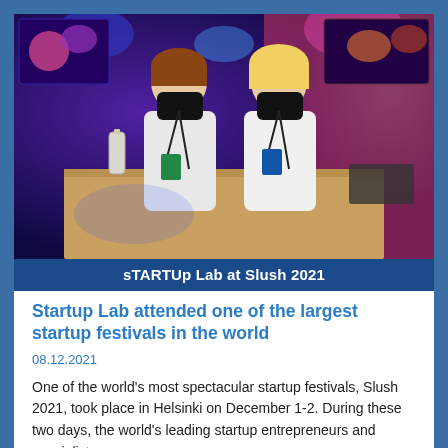[Figure (photo): Two women wearing black face masks and lanyards/badges standing at a wooden counter at Slush 2021 startup festival, with colorful stage lighting and screens visible in the background]
sTARTUp Lab at Slush 2021
Startup Lab attended one of the largest startup festivals in the world
08.12.2021
One of the world's most spectacular startup festivals, Slush 2021, took place in Helsinki on December 1-2. During these two days, the world's leading startup entrepreneurs and specialists gave